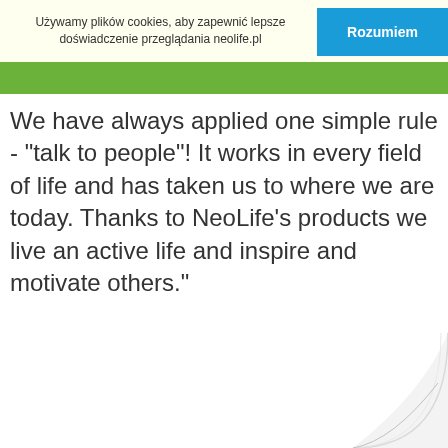Używamy plików cookies, aby zapewnić lepsze doświadczenie przeglądania neolife.pl
We have always applied one simple rule - "talk to people"! It works in every field of life and has taken us to where we are today. Thanks to NeoLife's products we live an active life and inspire and motivate others."